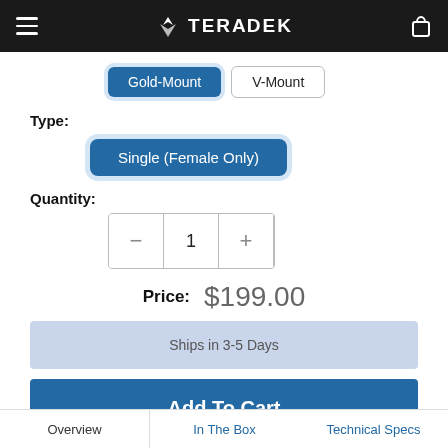TERADEK
Gold-Mount  V-Mount
Type:
Single (Female Only)
Quantity:
1
Price:  $199.00
Ships in 3-5 Days
Add To Cart
Overview  In The Box  Technical Specs